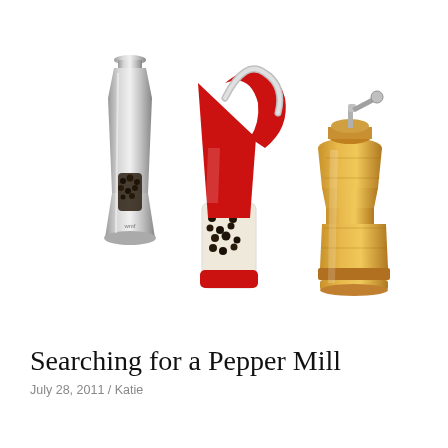[Figure (photo): Three pepper mills side by side on a white background: left is a tall chrome/silver electric-style mill, center is a modern red and clear acrylic angular mill with a curved metal handle, right is a classic wooden pepper mill with a metal hand crank on top.]
Searching for a Pepper Mill
July 28, 2011 / Katie